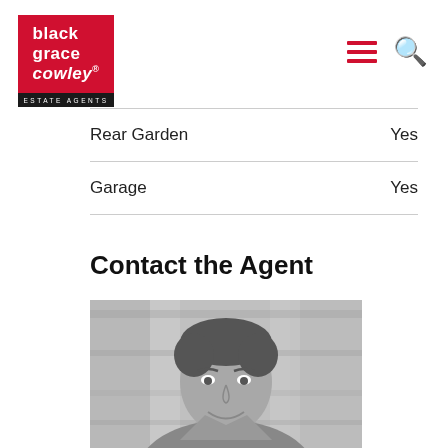black grace cowley ESTATE AGENTS
| Feature | Value |
| --- | --- |
| Rear Garden | Yes |
| Garage | Yes |
Contact the Agent
[Figure (photo): Grayscale headshot photo of a male estate agent smiling, with blurred office background]